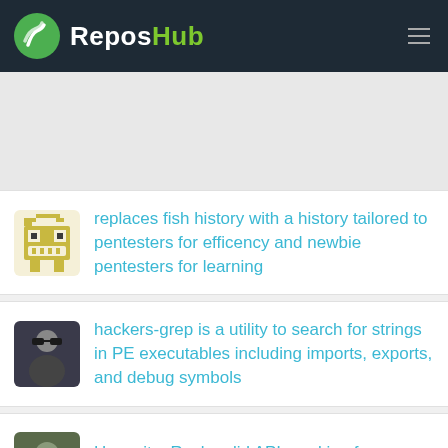ReposHub
[Figure (screenshot): Gray placeholder banner area]
replaces fish history with a history tailored to pentesters for efficency and newbie pentesters for learning
hackers-grep is a utility to search for strings in PE executables including imports, exports, and debug symbols
Haxonite: Rock-solid API mocking for hackers